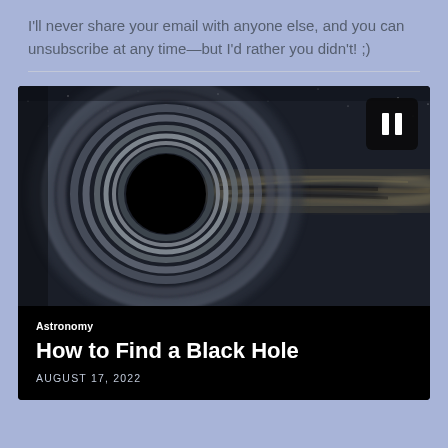I'll never share your email with anyone else, and you can unsubscribe at any time—but I'd rather you didn't! ;)
[Figure (illustration): Black hole visualization showing gravitational lensing effect with a dark circular void surrounded by warped light rings, with a galaxy band stretching across the right side. A dark pause button icon is in the upper right corner of the image.]
Astronomy
How to Find a Black Hole
AUGUST 17, 2022